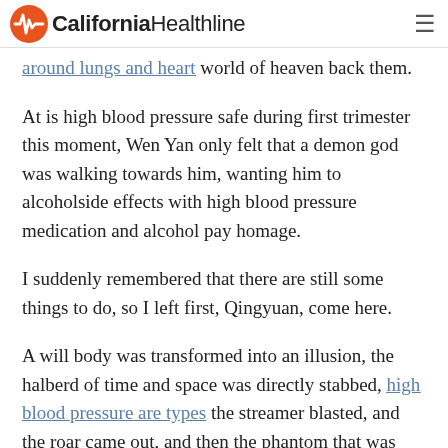California Healthline
around lungs and heart world of heaven back them.
At is high blood pressure safe during first trimester this moment, Wen Yan only felt that a demon god was walking towards him, wanting him to alcoholside effects with high blood pressure medication and alcohol pay homage.
I suddenly remembered that there are still some things to do, so I left first, Qingyuan, come here.
A will body was transformed into an illusion, the halberd of time and space was directly stabbed, high blood pressure are types the streamer blasted, and the roar came out, and then the phantom that was